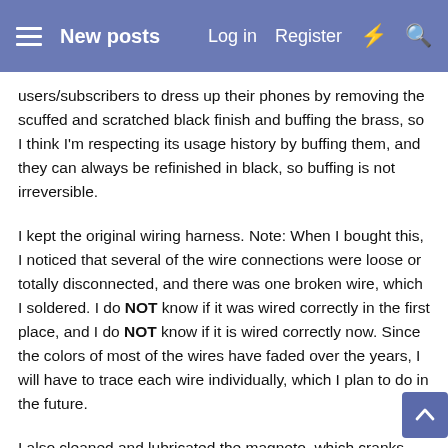New posts | Log in | Register
users/subscribers to dress up their phones by removing the scuffed and scratched black finish and buffing the brass, so I think I'm respecting its usage history by buffing them, and they can always be refinished in black, so buffing is not irreversible.
I kept the original wiring harness. Note: When I bought this, I noticed that several of the wire connections were loose or totally disconnected, and there was one broken wire, which I soldered. I do NOT know if it was wired correctly in the first place, and I do NOT know if it is wired correctly now. Since the colors of most of the wires have faded over the years, I will have to trace each wire individually, which I plan to do in the future.
I also cleaned and lubricated the magneto, which cranks smoothly. As an added touch, I applied a couple of new decals to the door and magneto and pasted an old circuit diagram on the inside of the door, which I “think” is probably correct for this phone. I'm only planning to use